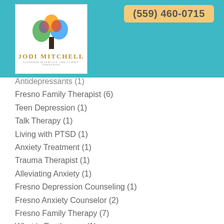[Figure (logo): Jodi Mitchell Licensed Marriage and Family Therapist logo with colorful tree]
(559) 460-0715
Antidepressants (1)
Fresno Family Therapist (6)
Teen Depression (1)
Talk Therapy (1)
Living with PTSD (1)
Anxiety Treatment (1)
Trauma Therapist (1)
Alleviating Anxiety (1)
Fresno Depression Counseling (1)
Fresno Anxiety Counselor (2)
Fresno Family Therapy (7)
What is Ecotherapy (1)
Stress (3)
Psychoanalysis (1)
Self-care (1)
Family Therapy (24)
Adopted Children (1)
Fresno PTSD Therapist (5)
Fresno CBT Therapist (5)